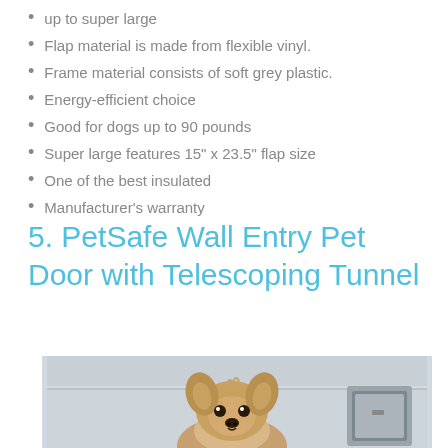up to super large
Flap material is made from flexible vinyl.
Frame material consists of soft grey plastic.
Energy-efficient choice
Good for dogs up to 90 pounds
Super large features 15" x 23.5" flap size
One of the best insulated
Manufacturer's warranty
5. PetSafe Wall Entry Pet Door with Telescoping Tunnel
[Figure (photo): A small fluffy dog (appears to be a Yorkshire Terrier) looking over a wall-mounted pet door tunnel installed in a white wall.]